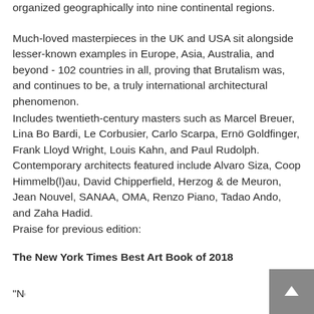organized geographically into nine continental regions.
Much-loved masterpieces in the UK and USA sit alongside lesser-known examples in Europe, Asia, Australia, and beyond - 102 countries in all, proving that Brutalism was, and continues to be, a truly international architectural phenomenon.
Includes twentieth-century masters such as Marcel Breuer, Lina Bo Bardi, Le Corbusier, Carlo Scarpa, Ernö Goldfinger, Frank Lloyd Wright, Louis Kahn, and Paul Rudolph. Contemporary architects featured include Alvaro Siza, Coop Himmelb(l)au, David Chipperfield, Herzog & de Meuron, Jean Nouvel, SANAA, OMA, Renzo Piano, Tadao Ando, and Zaha Hadid.
Praise for previous edition:
The New York Times Best Art Book of 2018
"Newcomers will discover the global influence of brutalism, that final age of civic architectural ambition; true believers can use it